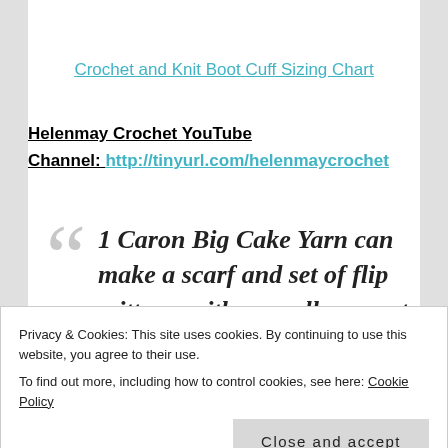Crochet and Knit Boot Cuff Sizing Chart
Helenmay Crochet YouTube Channel:  http://tinyurl.com/helenmaycrochet
1 Caron Big Cake Yarn can make a scarf and set of flip mittens, with a small amount of yarn left over. You still have yarn left over from the 2nd
Privacy & Cookies: This site uses cookies. By continuing to use this website, you agree to their use. To find out more, including how to control cookies, see here: Cookie Policy
Close and accept